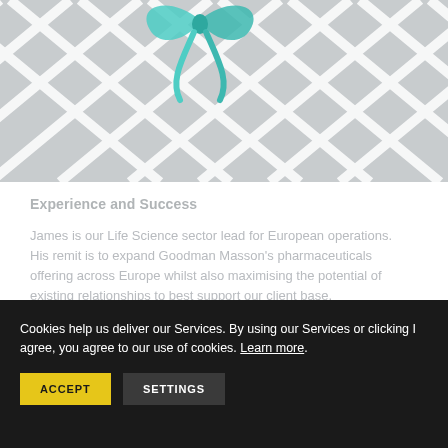[Figure (photo): Close-up photo of a grey lattice/diamond pattern background with a teal/mint bow or ribbon element visible near the top center]
Experience and Success
James is our Life Science sector lead for European operations. His remit is to expand Goodman Masson's pharmaceuticals offering across Europe whilst also maximising the potential of existing relationships to best support our client base.
Cookies help us deliver our Services. By using our Services or clicking I agree, you agree to our use of cookies. Learn more.
ACCEPT
SETTINGS